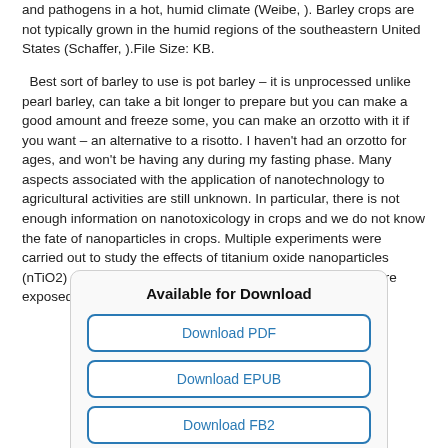and pathogens in a hot, humid climate (Weibe, ). Barley crops are not typically grown in the humid regions of the southeastern United States (Schaffer, ).File Size: KB.
Best sort of barley to use is pot barley – it is unprocessed unlike pearl barley, can take a bit longer to prepare but you can make a good amount and freeze some, you can make an orzotto with it if you want – an alternative to a risotto. I haven't had an orzotto for ages, and won't be having any during my fasting phase. Many aspects associated with the application of nanotechnology to agricultural activities are still unknown. In particular, there is not enough information on nanotoxicology in crops and we do not know the fate of nanoparticles in crops. Multiple experiments were carried out to study the effects of titanium oxide nanoparticles (nTiO2) on barley (Hordeum vulgare). Germinating seeds were exposed Cited by: 4.
[Figure (other): Download box with buttons: Download PDF, Download EPUB, Download FB2, Download MOBI]